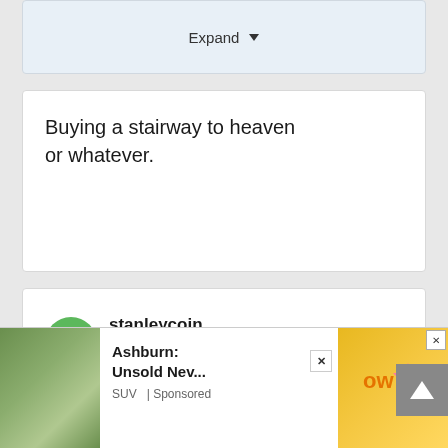[Figure (screenshot): Expand button with dropdown arrow in a light blue card]
Buying a stairway to heaven or whatever.
stanleycoin
+8543
Posted February 7, 2019
Is anyone truly surprised.
[Figure (screenshot): Advertisement bar at bottom: Ashburn: Unsold Nev... SUV | Sponsored, with close button and game ad on right]